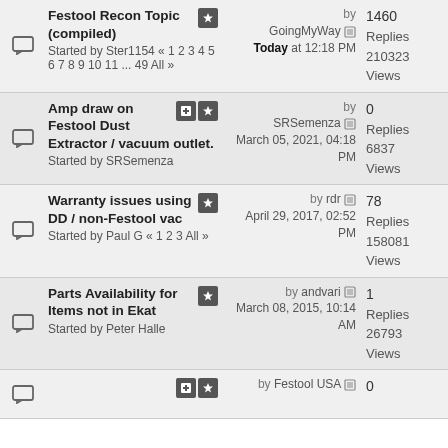Festool Recon Topic (compiled) - Started by Ster1154 « 1 2 3 4 5 6 7 8 9 10 11 ... 49 All » - by GoingMyWay Today at 12:18 PM - 1460 Replies 210323 Views
Amp draw on Festool Dust Extractor / vacuum outlet. - Started by SRSemenza - by SRSemenza March 05, 2021, 04:18 PM - 0 Replies 6837 Views
Warranty issues using DD / non-Festool vac - Started by Paul G « 1 2 3 All » - by rdr April 29, 2017, 02:52 PM - 78 Replies 158081 Views
Parts Availability for Items not in Ekat - Started by Peter Halle - by andvari March 08, 2015, 10:14 AM - 1 Replies 26793 Views
by Festool USA - 0